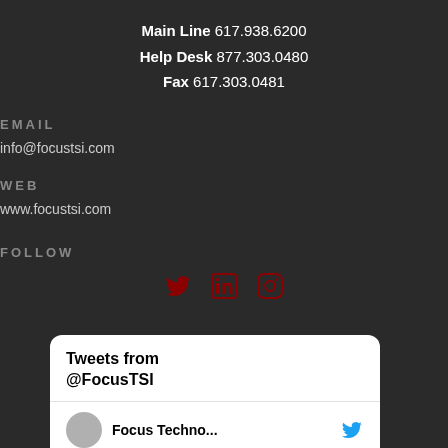Main Line 617.938.6200
Help Desk 877.303.0480
Fax 617.303.0481
EMAIL
info@focustsi.com
WEB
www.focustsi.com
FOLLOW
[Figure (infographic): Twitter, LinkedIn, and Instagram social media icons in dark red/maroon color]
Tweets from @FocusTSI
Focus Techno...